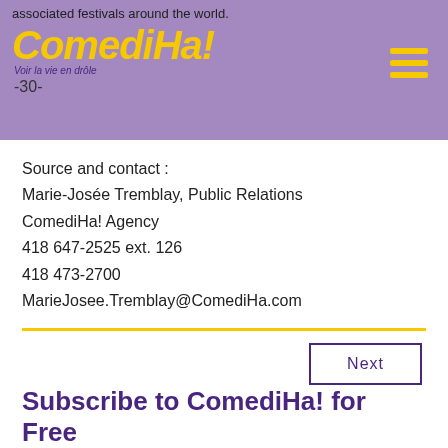associated festivals around the world.
[Figure (logo): ComediHa! logo in yellow italic font on purple background with tagline 'Voir la vie en drôle' and -30- text below]
Source and contact :
Marie-Josée Tremblay, Public Relations
ComediHa! Agency
418 647-2525 ext. 126
418 473-2700
MarieJosee.Tremblay@ComediHa.com
Next
Subscribe to ComediHa! for Free